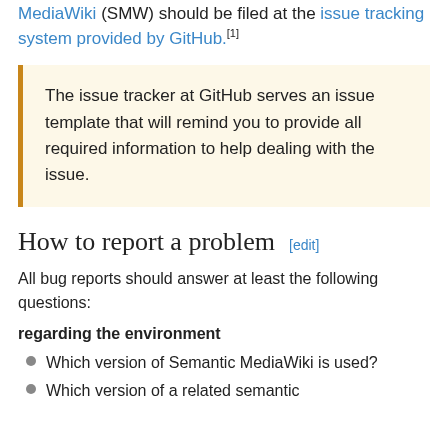MediaWiki (SMW) should be filed at the issue tracking system provided by GitHub.[1]
The issue tracker at GitHub serves an issue template that will remind you to provide all required information to help dealing with the issue.
How to report a problem [edit]
All bug reports should answer at least the following questions:
regarding the environment
Which version of Semantic MediaWiki is used?
Which version of a related semantic